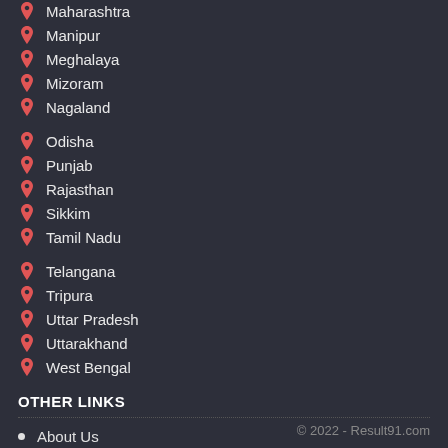Maharashtra
Manipur
Meghalaya
Mizoram
Nagaland
Odisha
Punjab
Rajasthan
Sikkim
Tamil Nadu
Telangana
Tripura
Uttar Pradesh
Uttarakhand
West Bengal
OTHER LINKS
About Us
Contact Us
Privacy Policy
Terms of Use
Disclaimer
© 2022 - Result91.com